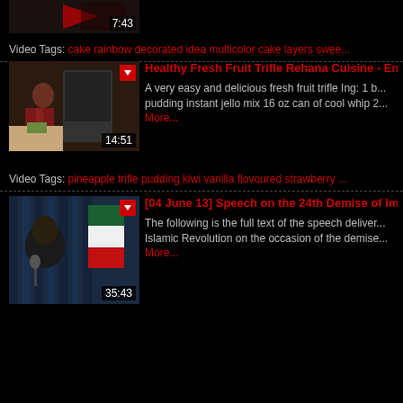[Figure (screenshot): Partial video thumbnail at top with duration 7:43]
Video Tags: cake rainbow decorated idea multicolor cake layers swee...
[Figure (screenshot): Video thumbnail for Healthy Fresh Fruit Trifle Rehana Cuisine, duration 14:51]
Healthy Fresh Fruit Trifle Rehana Cuisine - En...
A very easy and delicious fresh fruit trifle Ing: 1 b... pudding instant jello mix 16 oz can of cool whip 2... More...
Video Tags: pineapple trifle pudding kiwi vanilla flovoured strawberry ...
[Figure (screenshot): Video thumbnail for speech on 24th Demise of Imam, duration 35:43]
[04 June 13] Speech on the 24th Demise of Im...
The following is the full text of the speech deliver... Islamic Revolution on the occasion of the demise... More...